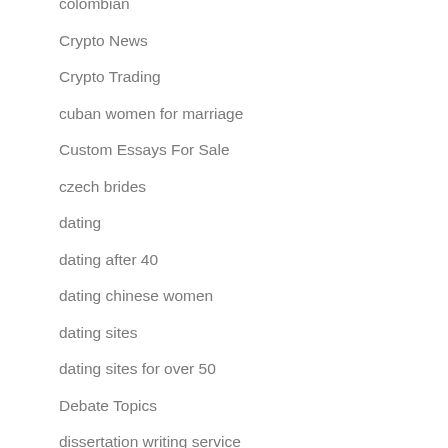colombian
Crypto News
Crypto Trading
cuban women for marriage
Custom Essays For Sale
czech brides
dating
dating after 40
dating chinese women
dating sites
dating sites for over 50
Debate Topics
dissertation writing service
dominican women for marriage
easiest website builder
email validation